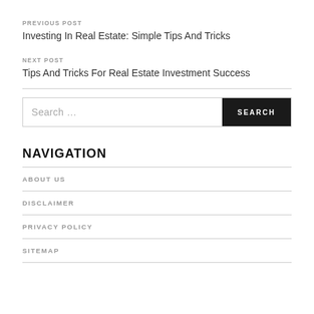PREVIOUS POST
Investing In Real Estate: Simple Tips And Tricks
NEXT POST
Tips And Tricks For Real Estate Investment Success
NAVIGATION
ABOUT US
DISCLAIMER
PRIVACY POLICY
SITEMAP